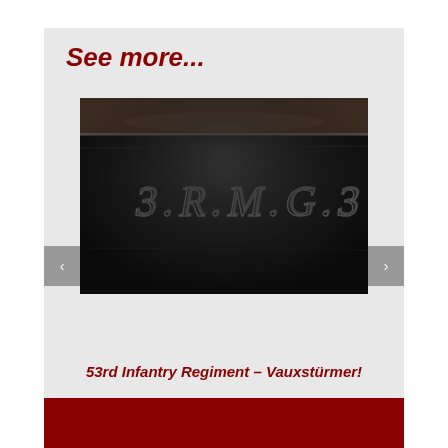See more...
[Figure (photo): Close-up photograph of dark leather or wood surface with embossed/stamped text reading '3. R. M. G. 3']
53rd Infantry Regiment – Vauxstürmer!